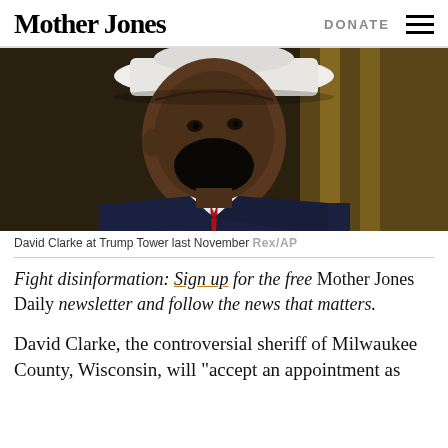Mother Jones  DONATE
[Figure (photo): David Clarke wearing a white cowboy hat and dark suit with red tie, photographed at Trump Tower]
David Clarke at Trump Tower last November Rex/AP
Fight disinformation: Sign up for the free Mother Jones Daily newsletter and follow the news that matters.
David Clarke, the controversial sheriff of Milwaukee County, Wisconsin, will "accept an appointment as